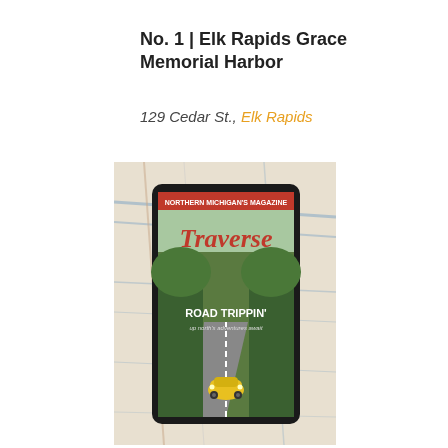No. 1 | Elk Rapids Grace Memorial Harbor
129 Cedar St., Elk Rapids
[Figure (photo): A tablet device displaying the cover of Traverse magazine (Northern Michigan's Magazine), featuring a yellow Volkswagen Beetle driving down a tree-lined road with the text 'ROAD TRIPPIN'' on the cover. The tablet is placed on top of a road map.]